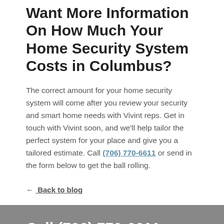Want More Information On How Much Your Home Security System Costs in Columbus?
The correct amount for your home security system will come after you review your security and smart home needs with Vivint reps. Get in touch with Vivint soon, and we'll help tailor the perfect system for your place and give you a tailored estimate. Call (706) 770-6611 or send in the form below to get the ball rolling.
← Back to blog
Call (706) 770-6611 now to get a free quote